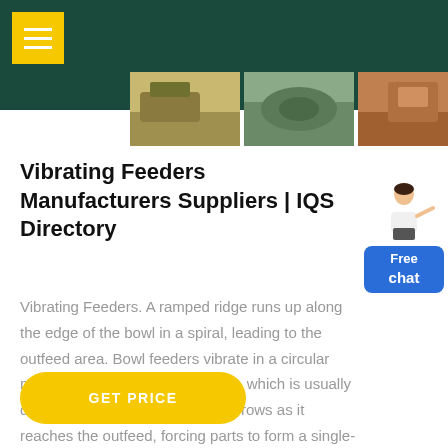[Figure (screenshot): Dark teal header bar with yellow hamburger menu button and three industrial equipment photos below]
Vibrating Feeders Manufacturers Suppliers | IQS Directory
Vibrating Feeders. A ramped ridge runs up along the edge of the bowl in a spiral, leading to the outfeed area. Bowl feeders vibrate in a circular motion, driving parts up the ridge, which is usually designed for a specific part; it narrows as it reaches the outfeed, forcing parts to form a single-file uniform line.
[Figure (illustration): Free chat button with a person illustration and blue GET PRICE button]
GET PRICE